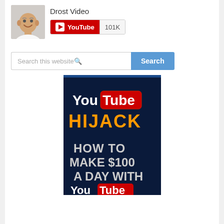[Figure (photo): Profile photo of a bald smiling man in white shirt]
Drost Video
[Figure (logo): YouTube subscribe badge showing red YouTube play button icon with '101K' subscriber count]
[Figure (screenshot): Search bar with 'Search this website' placeholder text and blue Search button]
[Figure (illustration): YouTube Hijack advertisement banner: dark blue background with YouTube logo, 'HIJACK' in yellow, 'HOW TO MAKE $100 A DAY WITH YouTube' text in silver/white with YouTube logo at bottom]